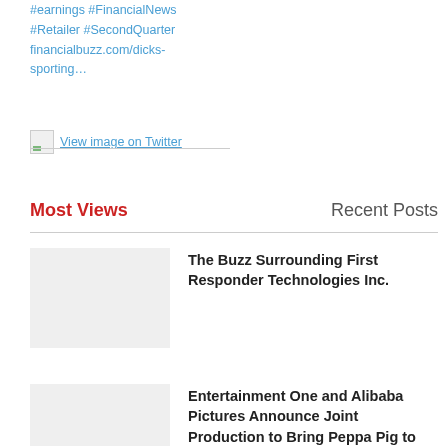#earnings #FinancialNews #Retailer #SecondQuarter financialbuzz.com/dicks-sporting…
[Figure (screenshot): View image on Twitter link with small image placeholder icon and underline]
Most Views   Recent Posts
The Buzz Surrounding First Responder Technologies Inc.
Entertainment One and Alibaba Pictures Announce Joint Production to Bring Peppa Pig to Theaters in China